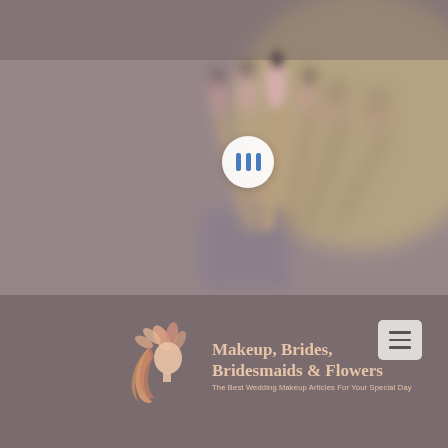[Figure (photo): Blurred close-up photo of pink and brown makeup brushes in a cup/holder, with a warm yellow-beige circular background element on the right. A white circular pause button overlay is centered on the image.]
[Figure (logo): Logo for 'Makeup, Brides, Bridesmaids & Flowers' website featuring an illustrated woman's profile with flowing hair and flower/leaf motifs in salmon/rose gold colors. Tagline: 'The Best Wedding Makeup Articles For Your Special Day']